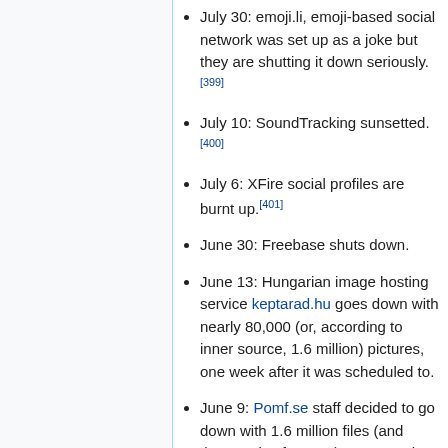July 30: emoji.li, emoji-based social network was set up as a joke but they are shutting it down seriously.[399]
July 10: SoundTracking sunsetted.[400]
July 6: XFire social profiles are burnt up.[401]
June 30: Freebase shuts down.
June 13: Hungarian image hosting service keptarad.hu goes down with nearly 80,000 (or, according to inner source, 1.6 million) pictures, one week after it was scheduled to.
June 9: Pomf.se staff decided to go down with 1.6 million files (and thousands of pastes). Fortunately, they contacted ArchiveTeam and let them get a copy.